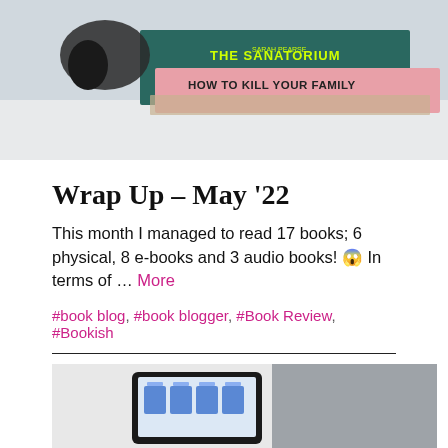[Figure (photo): Stack of books including 'The Sanatorium' by Sarah Pearse and 'How to Kill Your Family', with wireless earbuds on top, on a white surface.]
Wrap Up – May '22
This month I managed to read 17 books; 6 physical, 8 e-books and 3 audio books! 😱 In terms of … More
#book blog, #book blogger, #Book Review, #Bookish
[Figure (photo): A tablet or e-reader displaying document files, resting on a gray sofa.]